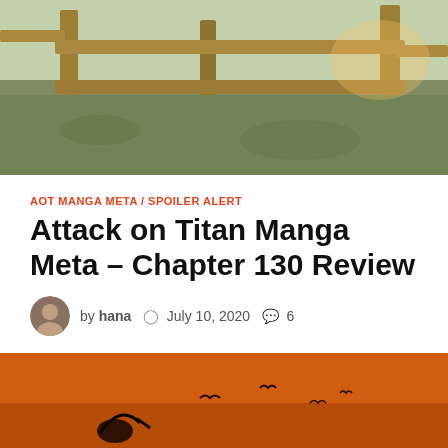[Figure (photo): Outdoor photo showing wooden fence posts with green grass and foliage in the background]
AOT MANGA META / SPOILER ALERT
Attack on Titan Manga Meta – Chapter 130 Review
by hana   July 10, 2020   6
Eren Jaeger, At Long Last Warning: Contains spoilers. Oh thank the manga gods both living and dead! Glory be! Hallelujah!  Eren's back in full force.  …
[Figure (photo): Orange/brown toned image with silhouettes of birds flying, appears to be an Attack on Titan related illustration]